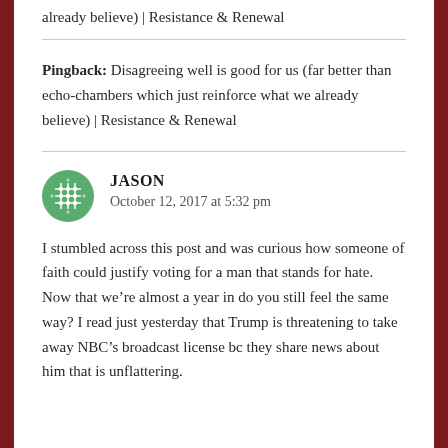already believe) | Resistance & Renewal
Pingback: Disagreeing well is good for us (far better than echo-chambers which just reinforce what we already believe) | Resistance & Renewal
JASON
October 12, 2017 at 5:32 pm

I stumbled across this post and was curious how someone of faith could justify voting for a man that stands for hate. Now that we're almost a year in do you still feel the same way? I read just yesterday that Trump is threatening to take away NBC's broadcast license bc they share news about him that is unflattering.